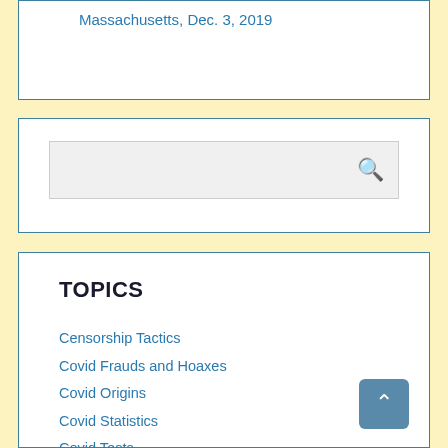Massachusetts, Dec. 3, 2019
[Figure (screenshot): Search box with magnifying glass icon]
TOPICS
Censorship Tactics
Covid Frauds and Hoaxes
Covid Origins
Covid Statistics
Covid Tests
Covid Treatments
Hydroxychloroquine
Ivermectin
Treatment Protocols
Covid Vaccines